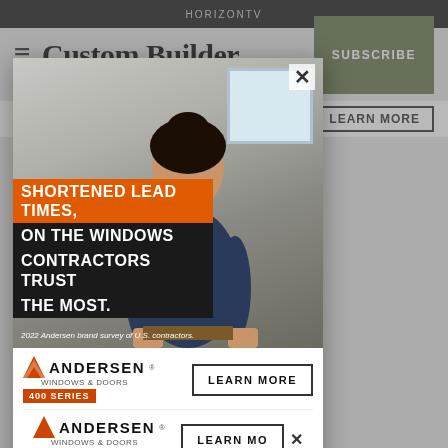HORIZONTV
Custom Builder
SUBSCRIBE
ADVERTISEMENT
[Figure (screenshot): Popup advertisement modal for Andersen Windows & Doors 400 Series. Shows a woman contractor smiling, with text overlay: 'SHORTENED LEAD TIMES, ON THE WINDOWS CONTRACTORS TRUST THE MOST.' Footer text: '2022 Andersen brand survey of U.S. contractors.' Below the photo: Andersen Windows & Doors 400 Series logo and LEARN MORE button. A close X button is in top-right corner of the popup.]
Lo...ch
H... s become... gton, D.C. ... ors co... f